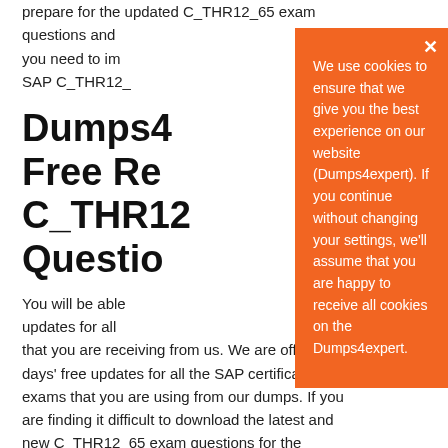prepare for the updated C_THR12_65 exam questions and you need to im SAP C_THR12_
Dumps4 Free Re C_THR12 Questio
You will be able updates for all that you are receiving from us. We are offering 90 days' free updates for all the SAP certification exams that you are using from our dumps. If you are finding it difficult to download the latest and new C_THR12_65 exam questions for the preparation of SAP Certified Application Associate
We use cookies to ensure that we give you the best experience on our website (Dumps4expert). If you continue without changing your settings, we'll assume that you are happy to receive all cookies on the Dumps4expert.